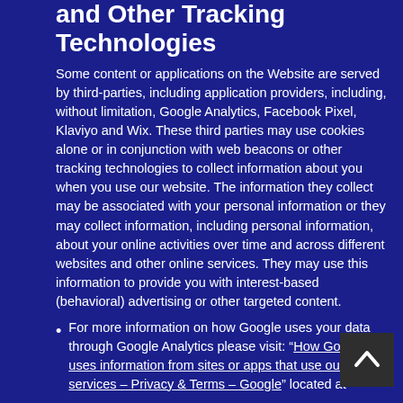and Other Tracking Technologies
Some content or applications on the Website are served by third-parties, including application providers, including, without limitation, Google Analytics, Facebook Pixel, Klaviyo and Wix. These third parties may use cookies alone or in conjunction with web beacons or other tracking technologies to collect information about you when you use our website. The information they collect may be associated with your personal information or they may collect information, including personal information, about your online activities over time and across different websites and other online services. They may use this information to provide you with interest-based (behavioral) advertising or other targeted content.
For more information on how Google uses your data through Google Analytics please visit: “How Google uses information from sites or apps that use our services – Privacy & Terms – Google” located at